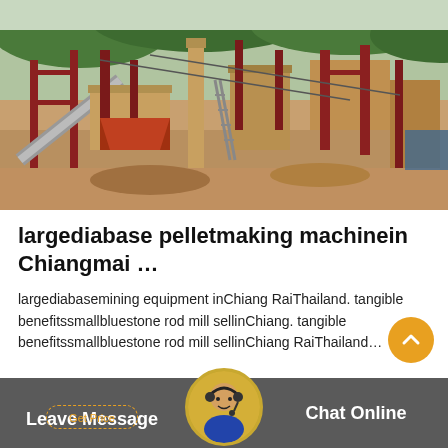[Figure (photo): Aerial view of a large open-air mining/quarry facility with red steel structures, conveyor belts, processing equipment, and earthmoving machinery set against a green hillside background.]
largediabase pelletmaking machinein Chiangmai …
largediabasemining equipment inChiang RaiThailand. tangible benefitssmallbluestone rod mill sellinChiang. tangible benefitssmallbluestone rod mill sellinChiang RaiThailand…
Leave Message   Get Price   Chat Online